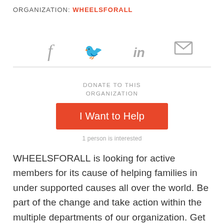ORGANIZATION: WHEELSFORALL
[Figure (infographic): Social sharing icons: Facebook (f), Twitter (bird), LinkedIn (in), Email (envelope), displayed in a horizontal row above a horizontal divider line.]
DONATE TO THIS ORGANIZATION
I Want to Help
1 person is interested
WHEELSFORALL is looking for active members for its cause of helping families in under supported causes all over the world. Be part of the change and take action within the multiple departments of our organization. Get the ability to refine